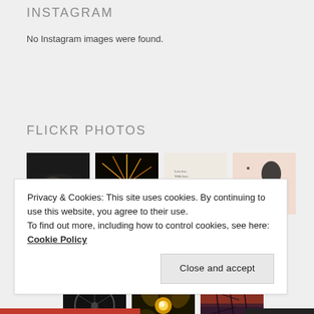INSTAGRAM
No Instagram images were found.
FLICKR PHOTOS
[Figure (photo): Grid of Flickr photo thumbnails: dark figure lying down, fireworks explosion, handwritten poetry text on light background, line art illustration of person with 'I TRUST YOU' text, black and white bicycle wheel, golden glittering foliage, orange-purple branches]
Privacy & Cookies: This site uses cookies. By continuing to use this website, you agree to their use.
To find out more, including how to control cookies, see here: Cookie Policy
Close and accept